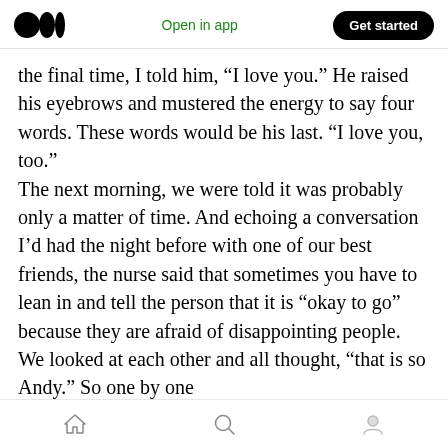Medium logo | Open in app | Get started
the final time, I told him, “I love you.” He raised his eyebrows and mustered the energy to say four words. These words would be his last. “I love you, too.”
The next morning, we were told it was probably only a matter of time. And echoing a conversation I’d had the night before with one of our best friends, the nurse said that sometimes you have to lean in and tell the person that it is “okay to go” because they are afraid of disappointing people. We looked at each other and all thought, “that is so Andy.” So one by one
Home | Search | Profile